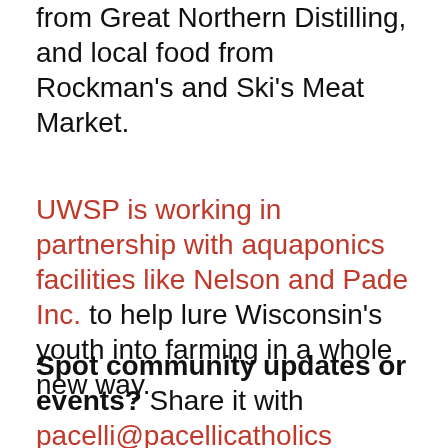from Great Northern Distilling, and local food from Rockman's and Ski's Meat Market.
UWSP is working in partnership with aquaponics facilities like Nelson and Pade Inc. to help lure Wisconsin's youth into farming in a whole new way.
Spot community updates or events? Share it with pacelli@pacellicatholicschools.com to include in the new Community